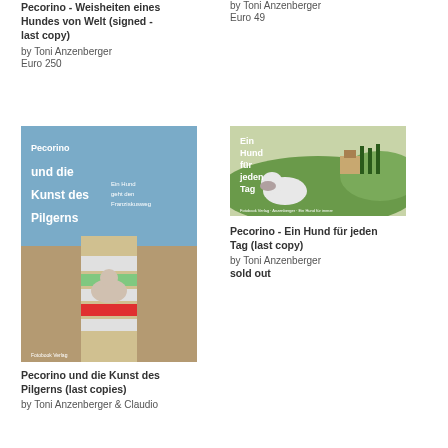Pecorino - Weisheiten eines Hundes von Welt (signed - last copy)
by Toni Anzenberger
Euro 250
by Toni Anzenberger
Euro 49
[Figure (photo): Book cover of Pecorino und die Kunst des Pilgerns showing a dog on a colorful pier walkway]
Pecorino und die Kunst des Pilgerns (last copies)
by Toni Anzenberger & Claudio
[Figure (photo): Book cover of Ein Hund fur jeden Tag showing a dog in a Tuscan landscape]
Pecorino - Ein Hund für jeden Tag (last copy)
by Toni Anzenberger
sold out